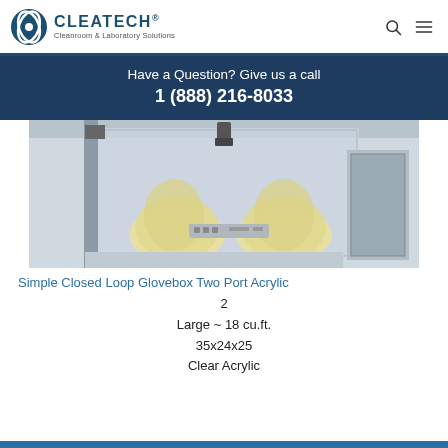CLEATECH® Cleanroom & Laboratory Solutions
Have a Question? Give us a call
1 (888) 216-8033
[Figure (photo): Simple Closed Loop Glovebox with Two Port Acrylic design, showing two large bag-style glove ports on a clear acrylic enclosure with metal frame and hardware.]
Simple Closed Loop Glovebox Two Port Acrylic
2
Large ~ 18 cu.ft.
35x24x25
Clear Acrylic